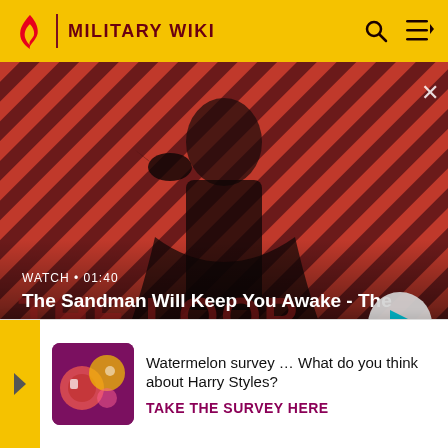MILITARY WIKI
[Figure (screenshot): Video banner showing The Sandman Will Keep You Awake - The Loop, with a pale figure in black with a crow on shoulder against red striped background. Shows WATCH • 01:40 label and play button.]
WATCH • 01:40
The Sandman Will Keep You Awake - The Loop
Congressional Diabetes Caucus
International Conservation Caucus
D...
S...
Te...
[Figure (infographic): Survey popup advertisement: Watermelon survey image with circles. Text: Watermelon survey … What do you think about Harry Styles? TAKE THE SURVEY HERE]